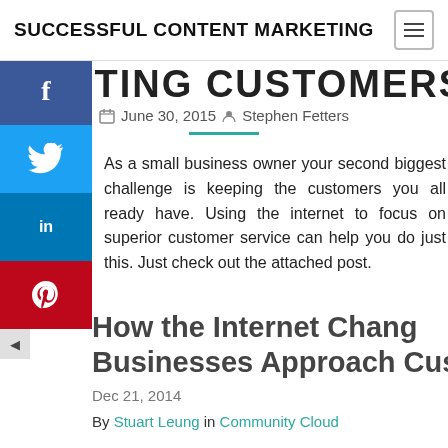SUCCESSFUL CONTENT MARKETING
EXISTING CUSTOMERS
June 30, 2015  Stephen Fetters
As a small business owner your second biggest challenge is keeping the customers you all ready have. Using the internet to focus on superior customer service can help you do just this. Just check out the attached post.
How the Internet Changed Businesses Approach Customer...
Dec 21, 2014
By Stuart Leung in Community Cloud